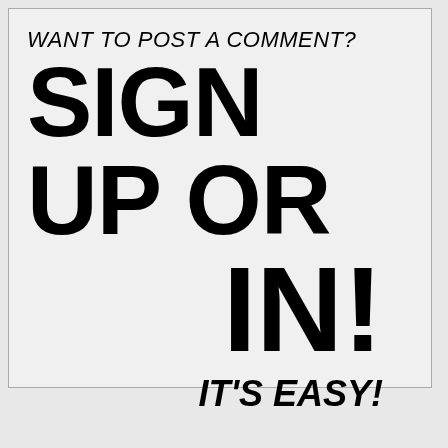WANT TO POST A COMMENT?
SIGN UP OR IN!
IT'S EASY!